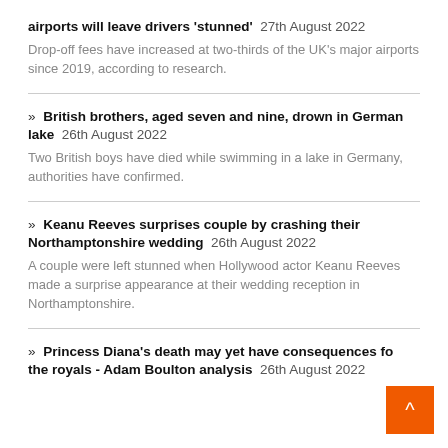airports will leave drivers 'stunned'  27th August 2022
Drop-off fees have increased at two-thirds of the UK's major airports since 2019, according to research.
» British brothers, aged seven and nine, drown in German lake  26th August 2022
Two British boys have died while swimming in a lake in Germany, authorities have confirmed.
» Keanu Reeves surprises couple by crashing their Northamptonshire wedding  26th August 2022
A couple were left stunned when Hollywood actor Keanu Reeves made a surprise appearance at their wedding reception in Northamptonshire.
» Princess Diana's death may yet have consequences for the royals - Adam Boulton analysis  26th August 2022